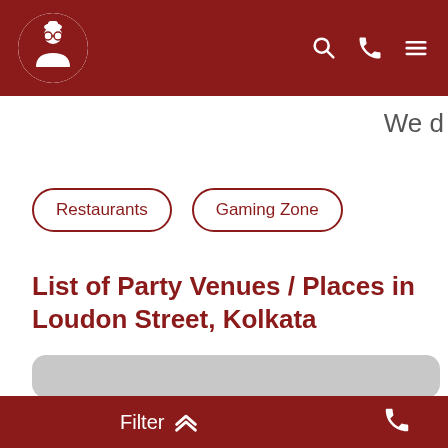Header navigation bar with logo, search icon, phone icon, and menu icon
We d
Restaurants
Gaming Zone
List of Party Venues / Places in Loudon Street, Kolkata
[Figure (photo): Gray placeholder image/card area]
Filter ^^  (phone icon)